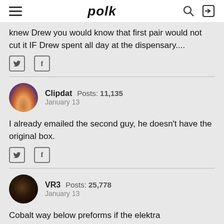polk
knew Drew you would know that first pair would not cut it IF Drew spent all day at the dispensary....
Clipdat  Posts: 11,135  January 13
I already emailed the second guy, he doesn't have the original box.
VR3  Posts: 25,778  January 13
Cobalt way below preforms if the elektra